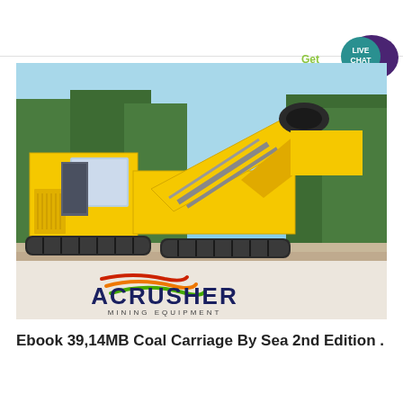[Figure (photo): Yellow heavy mining/crushing machine (ACRUSHER Mining Equipment) photographed outdoors against a blue sky with trees in the background. The machine is yellow with a large angled conveyor arm. ACRUSHER MINING EQUIPMENT logo visible at the bottom of the image.]
[Figure (logo): Live Chat button - teal circle with white text LIVE CHAT, with dark purple speech bubble icon, and green Get text]
Ebook 39,14MB Coal Carriage By Sea 2nd Edition .